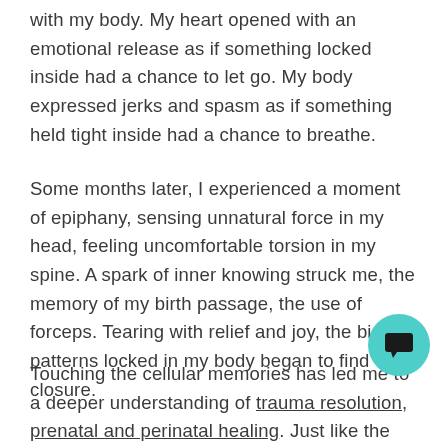with my body. My heart opened with an emotional release as if something locked inside had a chance to let go. My body expressed jerks and spasm as if something held tight inside had a chance to breathe.
Some months later, I experienced a moment of epiphany, sensing unnatural force in my head, feeling uncomfortable torsion in my spine. A spark of inner knowing struck me, the memory of my birth passage, the use of forceps. Tearing with relief and joy, the birth patterns locked in my body began to find closure.
Touching the cellular memories has led me to a deeper understanding of trauma resolution, prenatal and perinatal healing. Just like the therapists who worked with me before, I can now be the mirror reflecting your body to allow resolution to happen in a safe way. My body has gained the knowledge of how. This is the